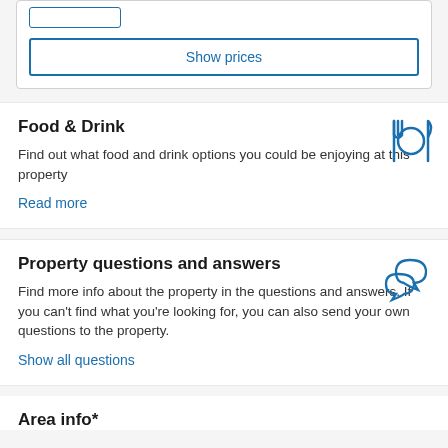[Figure (screenshot): Show prices button inside a white card with an input stub at top]
Food & Drink
Find out what food and drink options you could be enjoying at this property
Read more
Property questions and answers
Find more info about the property in the questions and answers. If you can't find what you're looking for, you can also send your own questions to the property.
Show all questions
Area info*